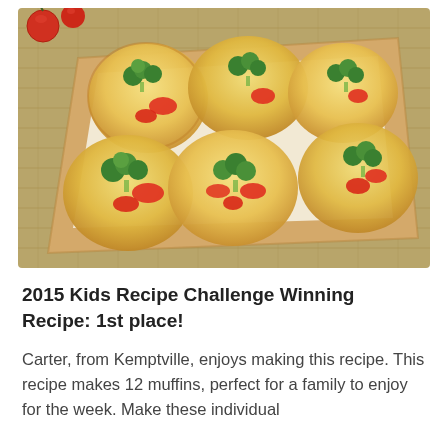[Figure (photo): Six flower-shaped egg and vegetable muffins with broccoli and red pepper pieces on a wooden cutting board with parchment paper, cherry tomatoes visible in background, on a burlap surface]
2015 Kids Recipe Challenge Winning Recipe: 1st place!
Carter, from Kemptville, enjoys making this recipe. This recipe makes 12 muffins, perfect for a family to enjoy for the week. Make these individual